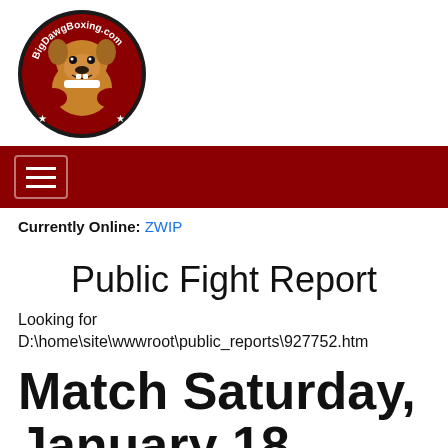[Figure (logo): BigDawgBoxing.com logo — circular badge with a bulldog wearing boxing gloves, dark background with red and white text around the edge]
[Figure (other): Dark red navigation bar with a hamburger menu button (three horizontal lines in a rounded rectangle)]
Currently Online: ZWIP
Public Fight Report
Looking for D:\home\site\wwwroot\public_reports\927752.htm
Match Saturday, January 18, 2014